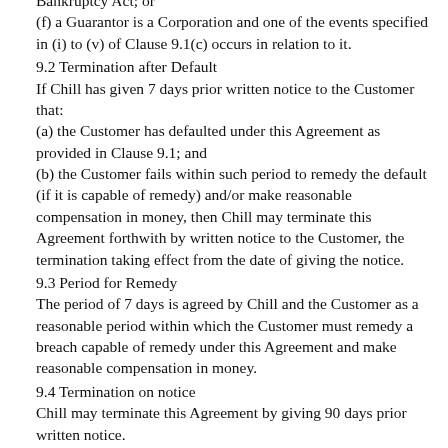Bankruptcy Act; or
(f) a Guarantor is a Corporation and one of the events specified in (i) to (v) of Clause 9.1(c) occurs in relation to it.
9.2 Termination after Default
If Chill has given 7 days prior written notice to the Customer that:
(a) the Customer has defaulted under this Agreement as provided in Clause 9.1; and
(b) the Customer fails within such period to remedy the default (if it is capable of remedy) and/or make reasonable compensation in money, then Chill may terminate this Agreement forthwith by written notice to the Customer, the termination taking effect from the date of giving the notice.
9.3 Period for Remedy
The period of 7 days is agreed by Chill and the Customer as a reasonable period within which the Customer must remedy a breach capable of remedy under this Agreement and make reasonable compensation in money.
9.4 Termination on notice
Chill may terminate this Agreement by giving 90 days prior written notice.
9.5 Goods Left in Store...